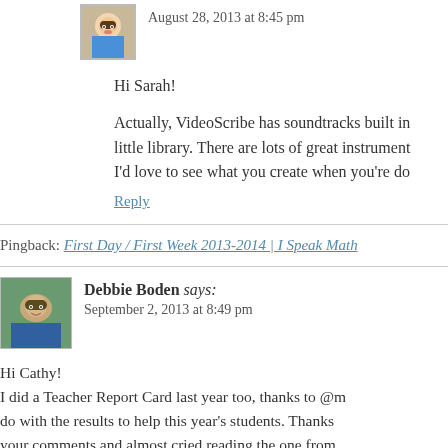August 28, 2013 at 8:45 pm
Hi Sarah!
Actually, VideoScribe has soundtracks built in little library. There are lots of great instrument I'd love to see what you create when you're do
Reply
Pingback: First Day / First Week 2013-2014 | I Speak Math
Debbie Boden says:
September 2, 2013 at 8:49 pm
Hi Cathy! I did a Teacher Report Card last year too, thanks to @m do with the results to help this year's students. Thanks your comments and almost cried reading the one from